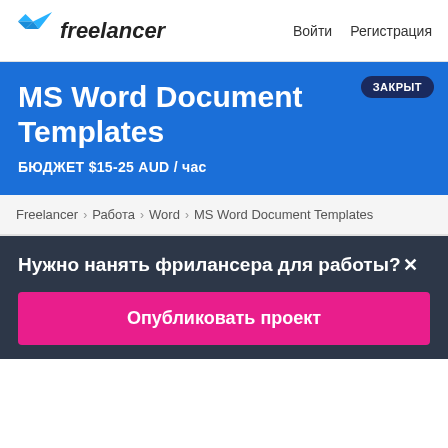Freelancer   Войти   Регистрация
MS Word Document Templates
БЮДЖЕТ $15-25 AUD / час
ЗАКРЫТ
Freelancer › Работа › Word › MS Word Document Templates
Нужно нанять фрилансера для работы?×
Опубликовать проект